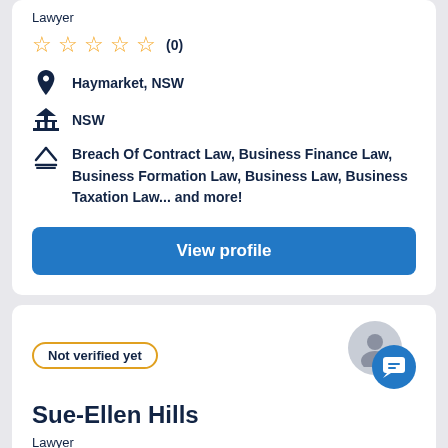Lawyer
☆☆☆☆☆ (0)
Haymarket, NSW
NSW
Breach Of Contract Law, Business Finance Law, Business Formation Law, Business Law, Business Taxation Law... and more!
View profile
Not verified yet
Sue-Ellen Hills
Lawyer